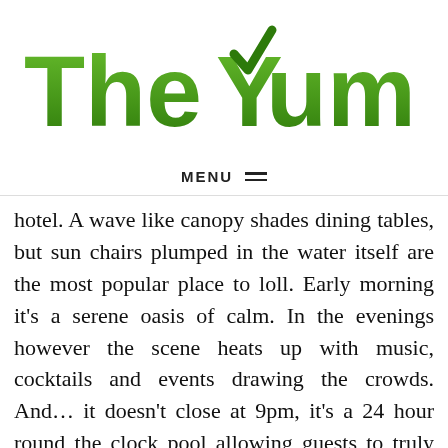[Figure (logo): The Yum List logo — green gradient bold text with a checkmark tick above the Y in Yum]
MENU ≡
hotel. A wave like canopy shades dining tables, but sun chairs plumped in the water itself are the most popular place to loll. Early morning it's a serene oasis of calm. In the evenings however the scene heats up with music, cocktails and events drawing the crowds. And… it doesn't close at 9pm, it's a 24 hour round the clock pool allowing guests to truly work with their own